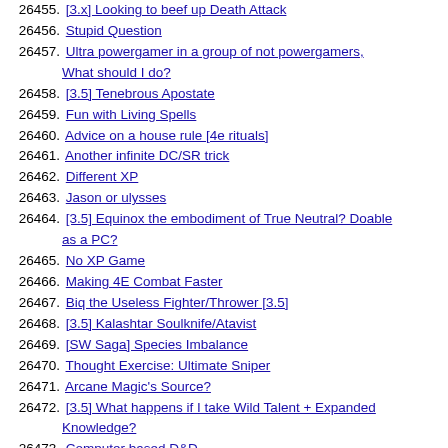26455. [3.x] Looking to beef up Death Attack
26456. Stupid Question
26457. Ultra powergamer in a group of not powergamers, What should I do?
26458. [3.5] Tenebrous Apostate
26459. Fun with Living Spells
26460. Advice on a house rule [4e rituals]
26461. Another infinite DC/SR trick
26462. Different XP
26463. Jason or ulysses
26464. [3.5] Equinox the embodiment of True Neutral? Doable as a PC?
26465. No XP Game
26466. Making 4E Combat Faster
26467. Biq the Useless Fighter/Thrower [3.5]
26468. [3.5] Kalashtar Soulknife/Atavist
26469. [SW Saga] Species Imbalance
26470. Thought Exercise: Ultimate Sniper
26471. Arcane Magic's Source?
26472. [3.5] What happens if I take Wild Talent + Expanded Knowledge?
26473. Computer based D&D
26474. [3.5] Need to improve accuracy with ranged touch spells
26475. DM cheap out
26476. [3.5] The "core only" limitation
26477. Correcting the DM
26478. Monk Bonus Feats
26479. More Vestages
26480. Sunder Machine
26481. [truncated]